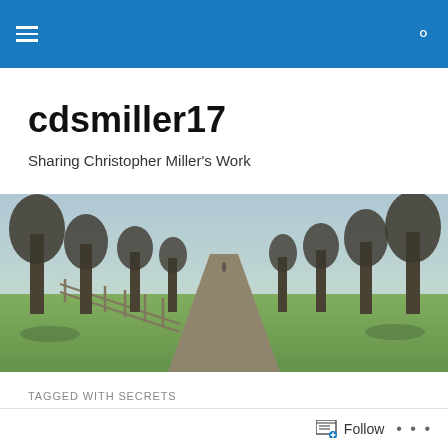cdsmiller17 [navigation header with hamburger menu and search icon]
cdsmiller17
Sharing Christopher Miller's Work
[Figure (photo): A long tree-lined path or avenue with bare winter trees on both sides, a wooden fence on the left, green grass, and a misty background with a figure in the distance. Taken in natural daylight.]
TAGGED WITH SECRETS
Were They in Secret Service to Trump on January 6th?
Follow